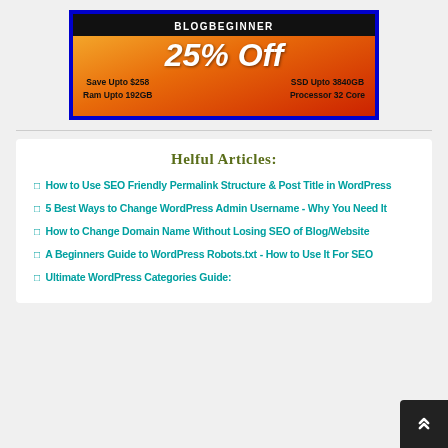[Figure (illustration): Advertisement banner for BlogBeginner hosting deal: 25% Off, Save Upto $258, SSD Upto 3840GB, Ram Upto 192GB, Processor 32 Core. Blue border, orange/red gradient background.]
Helful Articles:
How to Use SEO Friendly Permalink Structure & Post Title in WordPress
5 Best Ways to Change WordPress Admin Username - Why You Need It
How to Change Domain Name Without Losing SEO of Blog/Website
A Beginners Guide to WordPress Robots.txt - How to Use It For SEO
Ultimate WordPress Categories Guide: